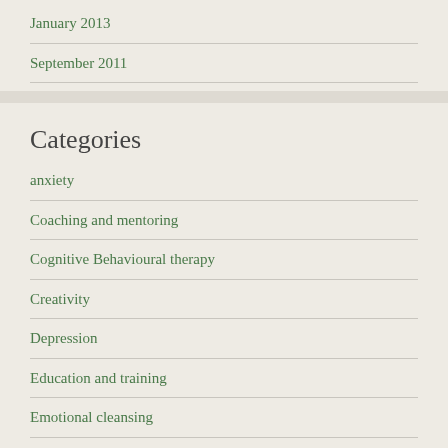January 2013
September 2011
Categories
anxiety
Coaching and mentoring
Cognitive Behavioural therapy
Creativity
Depression
Education and training
Emotional cleansing
Emotional intelligence
Family
Health and Wellbeing